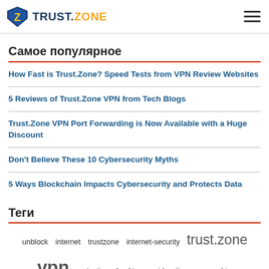TRUST.ZONE
Самое популярное
How Fast is Trust.Zone? Speed Tests from VPN Review Websites
5 Reviews of Trust.Zone VPN from Tech Blogs
Trust.Zone VPN Port Forwarding is Now Available with a Huge Discount
Don't Believe These 10 Cybersecurity Myths
5 Ways Blockchain Impacts Cybersecurity and Protects Data
Теги
unblock  internet  trustzone  internet-security  trust.zone  vpn  protection  hacking  guide  tips  censorship